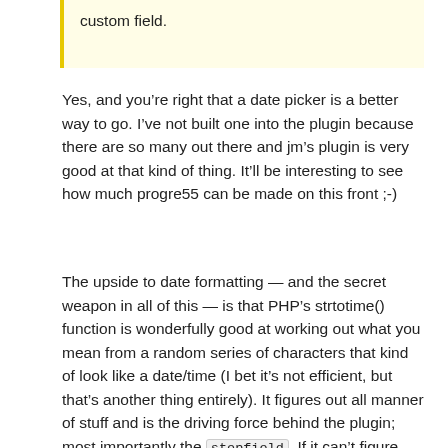custom field.
Yes, and you’re right that a date picker is a better way to go. I’ve not built one into the plugin because there are so many out there and jm’s plugin is very good at that kind of thing. It’ll be interesting to see how much progre55 can be made on this front ;-)
The upside to date formatting — and the secret weapon in all of this — is that PHP’s strtotime() function is wonderfully good at working out what you mean from a random series of characters that kind of look like a date/time (I bet it’s not efficient, but that’s another thing entirely). It figures out all manner of stuff and is the driving force behind the plugin; most importantly the stepfield. If it can’t figure something out it